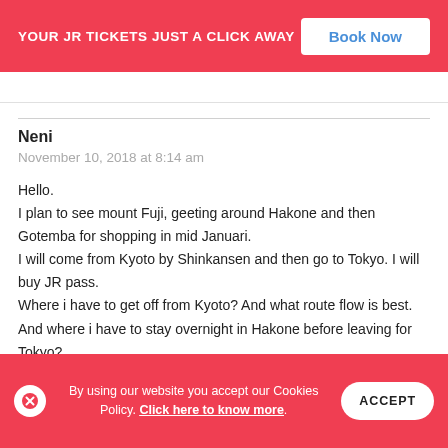YOUR JR TICKETS JUST A CLICK AWAY  Book Now
Neni
November 10, 2018 at 8:14 am
Hello.
I plan to see mount Fuji, geeting around Hakone and then Gotemba for shopping in mid Januari.
I will come from Kyoto by Shinkansen and then go to Tokyo. I will buy JR pass.
Where i have to get off from Kyoto? And what route flow is best. And where i have to stay overnight in Hakone before leaving for Tokyo?
By using our website you accept our Cookies Policy. Click here to know more.  ACCEPT